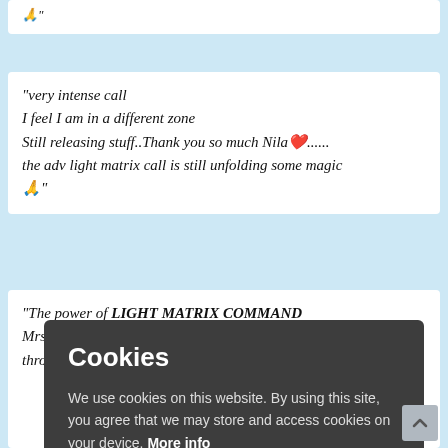🙏"
"very intense call
I feel I am in a different zone
Still releasing stuff..Thank you so much Nila❤️......
the adv light matrix call is still unfolding some magic
🙏"
"The power of LIGHT MATRIX COMMAND
Mrs.Goodluck Ogumba is a teacher and was going through tough time with husband's ill health, family
...e time
...rtance of
...cing
...erwhelming.
...nealth of the
...) and she
also developed high level of self Esteem.
Cookies
We use cookies on this website. By using this site, you agree that we may store and access cookies on your device. More info
Okay, thanks